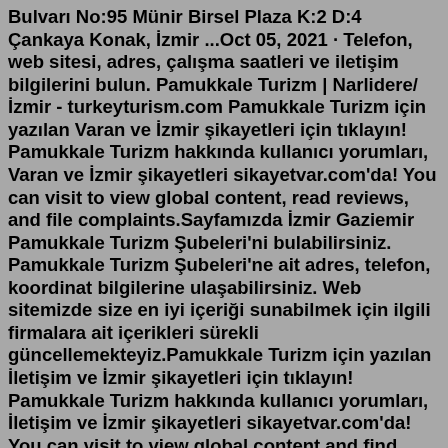Bulvarı No:95 Münir Birsel Plaza K:2 D:4 Çankaya Konak, İzmir ...Oct 05, 2021 · Telefon, web sitesi, adres, çalışma saatleri ve iletişim bilgilerini bulun. Pamukkale Turizm | Narlidere/İzmir - turkeyturism.com Pamukkale Turizm için yazılan Varan ve İzmir şikayetleri için tıklayın! Pamukkale Turizm hakkında kullanıcı yorumları, Varan ve İzmir şikayetleri sikayetvar.com'da! You can visit to view global content, read reviews, and file complaints.Sayfamızda İzmir Gaziemir Pamukkale Turizm Şubeleri'ni bulabilirsiniz. Pamukkale Turizm Şubeleri'ne ait adres, telefon, koordinat bilgilerine ulaşabilirsiniz. Web sitemizde size en iyi içeriği sunabilmek için ilgili firmalara ait içerikleri sürekli güncellemekteyiz.Pamukkale Turizm için yazılan İletişim ve İzmir şikayetleri için tıklayın! Pamukkale Turizm hakkında kullanıcı yorumları, İletişim ve İzmir şikayetleri sikayetvar.com'da! You can visit to view global content and find solutions to complaints.NO: 162 / 1A. (0.232) 215 00 69. İZMİR. SİRİNYER, MENDERES CAD. NO: 340 / B. (0.232)